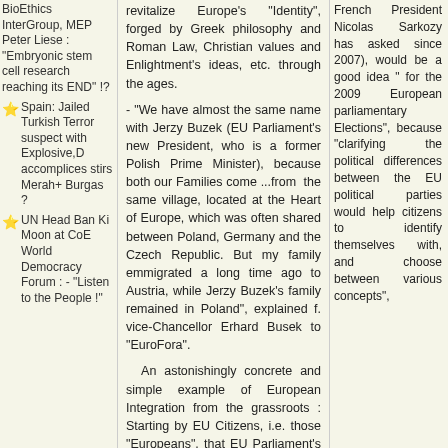BioEthics InterGroup, MEP Peter Liese : "Embryonic stem cell research reaching its END" !?
Spain: Jailed Turkish Terror suspect with Explosive, accomplices stirs Merah+ Burgas ?
UN Head Ban Ki Moon at CoE World Democracy Forum : - "Listen to the People !"
revitalize Europe's "Identity", forged by Greek philosophy and Roman Law, Christian values and Enlightment's ideas, etc. through the ages.
- "We have almost the same name with Jerzy Buzek (EU Parliament's new President, who is a former Polish Prime Minister), because both our Families come ...from the same village, located at the Heart of Europe, which was often shared between Poland, Germany and the Czech Republic. But my family emmigrated a long time ago to Austria, while Jerzy Buzek's family remained in Poland", explained f. vice-Chancellor Erhard Busek to "EuroFora".
An astonishingly concrete and simple example of European Integration from the grassroots : Starting by EU Citizens, i.e. those "Europeans", that EU Parliament's new President, Jerzy Buzek (this time with a "z"), wants to bring alongside MEP's decision-making proces, (according to "EuroFora"'s main idea : Comp. supra)...
***
French President Nicolas Sarkozy has asked since 2007), would be a good idea " for the 2009 European parliamentary Elections", because "clarifying the political differences between the EU political parties would help citizens to identify themselves with, and choose between various concepts",